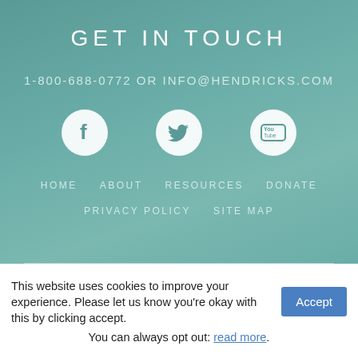GET IN TOUCH
1-800-688-0772 OR INFO@HENDRICKS.COM
[Figure (illustration): Three social media icon circles: Facebook (f), Twitter (bird), YouTube (You Tube)]
HOME   ABOUT   RESOURCES   DONATE
PRIVACY POLICY   SITE MAP
This website uses cookies to improve your experience. Please let us know you’re okay with this by clicking accept. You can always opt out: read more.